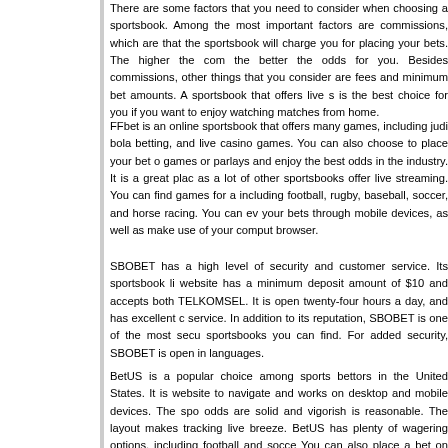There are some factors that you need to consider when choosing a sportsbook. Among the most important factors are commissions, which are that the sportsbook will charge you for placing your bets. The higher the com the better the odds for you. Besides commissions, other things that you consider are fees and minimum bet amounts. A sportsbook that offers live s is the best choice for you if you want to enjoy watching matches from home.
FFbet is an online sportsbook that offers many games, including judi bola betting, and live casino games. You can also choose to place your bet o games or parlays and enjoy the best odds in the industry. It is a great plac as a lot of other sportsbooks offer live streaming. You can find games for a including football, rugby, baseball, soccer, and horse racing. You can ev your bets through mobile devices, as well as make use of your comput browser.
SBOBET has a high level of security and customer service. Its sportsbook li website has a minimum deposit amount of $10 and accepts both TELKOMSEL. It is open twenty-four hours a day, and has excellent c service. In addition to its reputation, SBOBET is one of the most secu sportsbooks you can find. For added security, SBOBET is open in languages.
BetUS is a popular choice among sports bettors in the United States. It is website to navigate and works on desktop and mobile devices. The spo odds are solid and vigorish is reasonable. The layout makes tracking live breeze. BetUS has plenty of wagering options, including football and socce You can also place a bet on horse races. However, if you are a US player, want to look elsewhere.